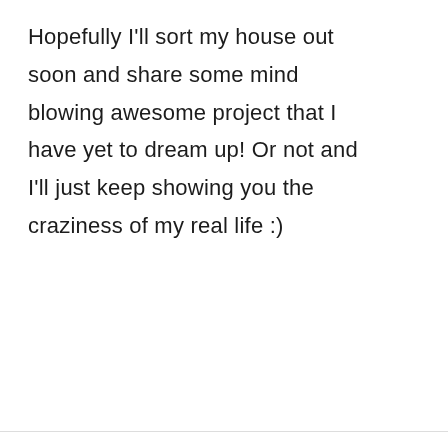Hopefully I'll sort my house out soon and share some mind blowing awesome project that I have yet to dream up! Or not and I'll just keep showing you the craziness of my real life :)